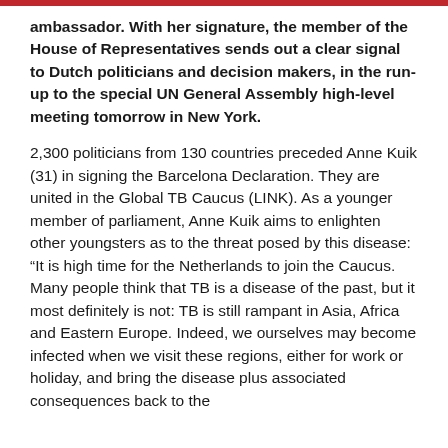ambassador. With her signature, the member of the House of Representatives sends out a clear signal to Dutch politicians and decision makers, in the run-up to the special UN General Assembly high-level meeting tomorrow in New York.
2,300 politicians from 130 countries preceded Anne Kuik (31) in signing the Barcelona Declaration. They are united in the Global TB Caucus (LINK). As a younger member of parliament, Anne Kuik aims to enlighten other youngsters as to the threat posed by this disease: “It is high time for the Netherlands to join the Caucus. Many people think that TB is a disease of the past, but it most definitely is not: TB is still rampant in Asia, Africa and Eastern Europe. Indeed, we ourselves may become infected when we visit these regions, either for work or holiday, and bring the disease plus associated consequences back to the